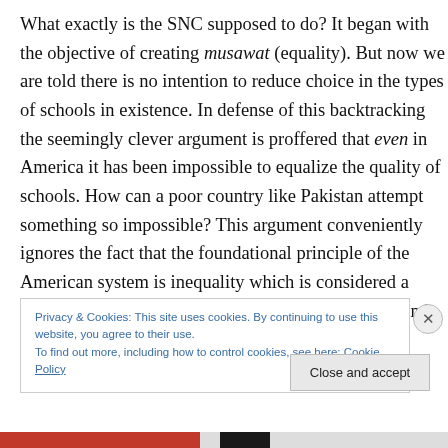What exactly is the SNC supposed to do? It began with the objective of creating musawat (equality). But now we are told there is no intention to reduce choice in the types of schools in existence. In defense of this backtracking the seemingly clever argument is proffered that even in America it has been impossible to equalize the quality of schools. How can a poor country like Pakistan attempt something so impossible? This argument conveniently ignores the fact that the foundational principle of the American system is inequality which is considered a good thing leading to dynamism, entrepreneurship, and the like.
Privacy & Cookies: This site uses cookies. By continuing to use this website, you agree to their use. To find out more, including how to control cookies, see here: Cookie Policy
Close and accept